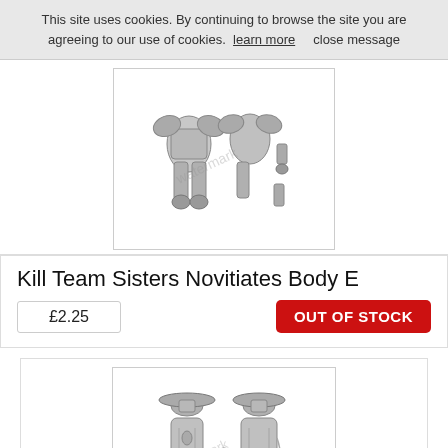This site uses cookies. By continuing to browse the site you are agreeing to our use of cookies.  learn more      close message
[Figure (photo): Gray resin/metal miniature parts for Kill Team Sisters Novitiates Body E, shown disassembled on white background with watermark]
Kill Team Sisters Novitiates Body E
£2.25
OUT OF STOCK
[Figure (photo): Gray resin/metal miniature figures for a Sisters Novitiates set, showing two robed figures with wide-brimmed hats and accessories, with watermark]